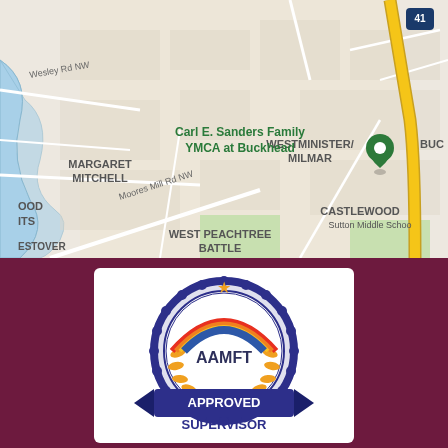[Figure (map): Google Maps screenshot showing area around Carl E. Sanders Family YMCA at Buckhead, Atlanta GA. Neighborhoods labeled: Margaret Mitchell, Westminister/Milmar, Castlewood, Brandon, West Peachtree Battle, Estover Antation. Roads include Moores Mill Rd NW, Wesley Rd NW. Route 41 visible top right. Green map pin marks the YMCA location.]
[Figure (logo): AAMFT Approved Supervisor badge/seal. Dark blue scalloped circle border with orange laurel wreath and orange star on top. Blue rainbow arc with red/orange/yellow stripes. Text: AAMFT in dark blue, APPROVED SUPERVISOR in white on blue ribbon banner.]